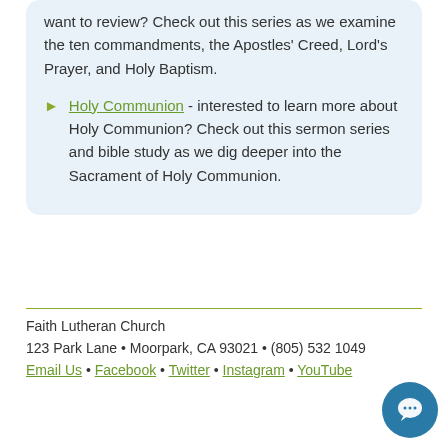want to review? Check out this series as we examine the ten commandments, the Apostles' Creed, Lord's Prayer, and Holy Baptism.
Holy Communion - interested to learn more about Holy Communion? Check out this sermon series and bible study as we dig deeper into the Sacrament of Holy Communion.
Faith Lutheran Church
123 Park Lane • Moorpark, CA 93021 • (805) 532 1049
Email Us • Facebook • Twitter • Instagram • YouTube